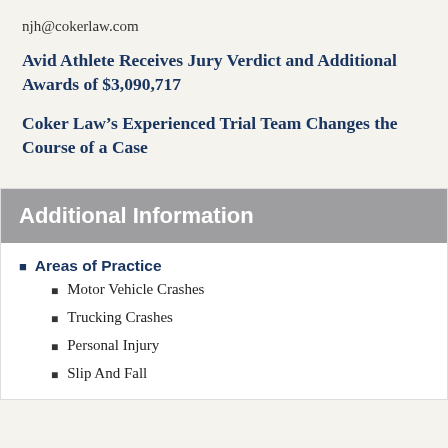njh@cokerlaw.com
Avid Athlete Receives Jury Verdict and Additional Awards of $3,090,717
Coker Law’s Experienced Trial Team Changes the Course of a Case
Additional Information
Areas of Practice
Motor Vehicle Crashes
Trucking Crashes
Personal Injury
Slip And Fall